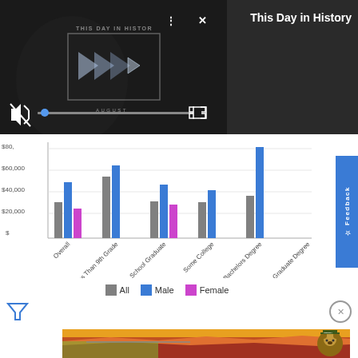[Figure (screenshot): Video player screenshot showing 'This Day in History' video with play button, mute icon, seek bar, fullscreen icon, and close/menu buttons on dark background]
This Day in History
[Figure (grouped-bar-chart): Income by Education Level]
All    Male    Female
[Figure (photo): Advertisement banner with illustration of Grand Canyon landscape and Smokey Bear character]